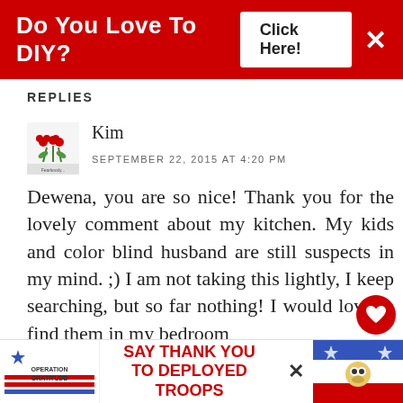[Figure (screenshot): Red top advertisement banner: 'Do You Love To DIY? Click Here!' with X close button]
REPLIES
[Figure (logo): Small floral/plant avatar icon for user Kim]
Kim
SEPTEMBER 22, 2015 AT 4:20 PM
Dewena, you are so nice! Thank you for the lovely comment about my kitchen. My kids and color blind husband are still suspects in my mind. ;) I am not taking this lightly, I keep searching, but so far nothing! I would love to find them in my bedroom
[Figure (screenshot): Bottom advertisement banner: Operation Gratitude - SAY THANK YOU TO DEPLOYED TROOPS]
[Figure (infographic): Floating heart and share icons on right side, and 'What's Next - Do You Dish?' bubble]